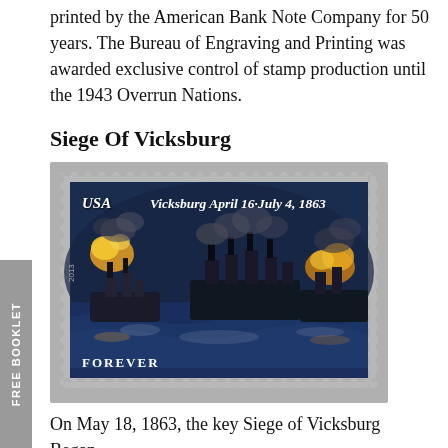printed by the American Bank Note Company for 50 years. The Bureau of Engraving and Printing was awarded exclusive control of stamp production until the 1943 Overrun Nations.
Siege Of Vicksburg
[Figure (photo): A US Forever stamp depicting the Siege of Vicksburg, April 16-July 4, 1863. The stamp shows warships on a river with explosions and smoke, rendered in a dark painterly style. The stamp reads 'USA', 'Vicksburg April 16-July 4, 1863', and 'FOREVER'.]
On May 18, 1863, the key Siege of Vicksburg Began.
Vicksburg, Mississippi, was called the “Gibraltar of the West” because cannons mounted on the bluffs kept enemy ships from passing by on the Mississippi River while